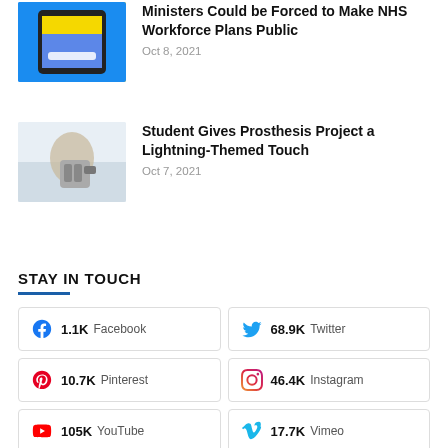[Figure (photo): A smartphone displaying an app screen on a blue background]
Ministers Could be Forced to Make NHS Workforce Plans Public
Oct 8, 2021
[Figure (photo): A person wearing or demonstrating a prosthetic arm/hand device]
Student Gives Prosthesis Project a Lightning-Themed Touch
Oct 7, 2021
STAY IN TOUCH
1.1K Facebook
68.9K Twitter
10.7K Pinterest
46.4K Instagram
105K YouTube
17.7K Vimeo